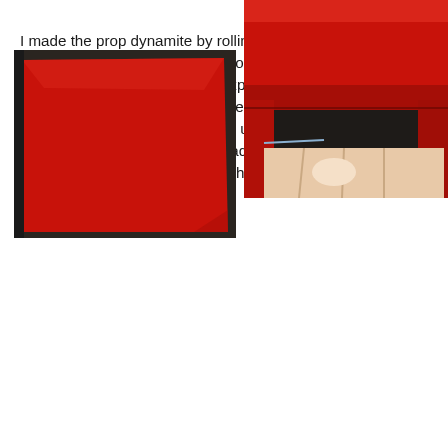REPORT THIS AD
I made the prop dynamite by rolling up red paper into tubes and hot gluing them in place before wrapping them with black electrical tape. I cut an “explosive” stencil using the cricut and stencil vinyl, and crudely painted it on using a sponge and black acrylic paint. I used model magic in red to create plugs for either end and added thick black yarn as the explosive leads through a small hole that I pierced into the model magic.
[Figure (photo): A sheet of flat red paper on a dark surface, corner visible]
[Figure (photo): A rolled red paper tube being held in a hand, on a dark surface]